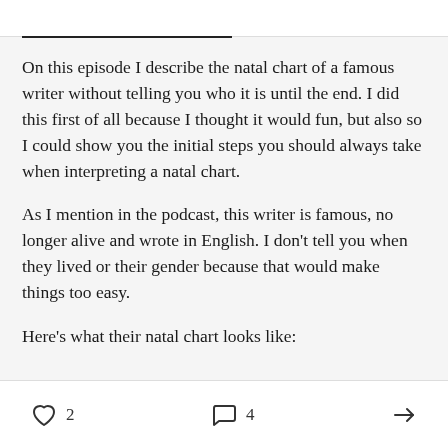On this episode I describe the natal chart of a famous writer without telling you who it is until the end. I did this first of all because I thought it would fun, but also so I could show you the initial steps you should always take when interpreting a natal chart.
As I mention in the podcast, this writer is famous, no longer alive and wrote in English. I don't tell you when they lived or their gender because that would make things too easy.
Here's what their natal chart looks like:
2   4